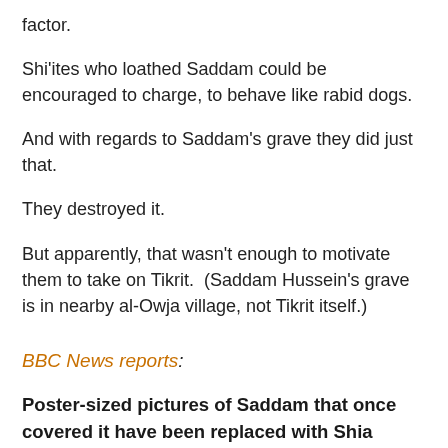factor.
Shi'ites who loathed Saddam could be encouraged to charge, to behave like rabid dogs.
And with regards to Saddam's grave they did just that.
They destroyed it.
But apparently, that wasn't enough to motivate them to take on Tikrit.  (Saddam Hussein's grave is in nearby al-Owja village, not Tikrit itself.)
BBC News reports:
Poster-sized pictures of Saddam that once covered it have been replaced with Shia militia flags and pictures of militia leaders, including Iranian